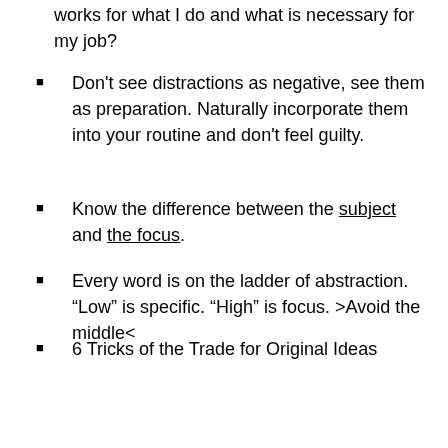works for what I do and what is necessary for my job?
Don’t see distractions as negative, see them as preparation. Naturally incorporate them into your routine and don’t feel guilty.
Know the difference between the subject and the focus.
Every word is on the ladder of abstraction. “Low” is specific. “High” is focus. >Avoid the middle<
6 Tricks of the Trade for Original Ideas {Best advice from the whole session. These really could have been featured in a blog post of their own}
1. Turn away from the target
2. Make a list
3. Do a narrative
4. Read the signs {literally}